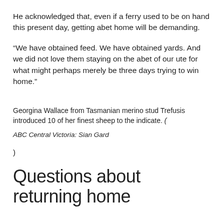He acknowledged that, even if a ferry used to be on hand this present day, getting abet home will be demanding.
“We have obtained feed. We have obtained yards. And we did not love them staying on the abet of our ute for what might perhaps merely be three days trying to win home.”
Georgina Wallace from Tasmanian merino stud Trefusis introduced 10 of her finest sheep to the indicate. (
ABC Central Victoria: Sian Gard
)
Questions about returning home